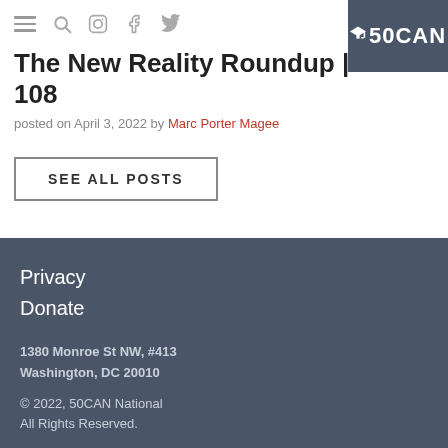[Figure (logo): 50CAN logo with graduation cap on dark blue-gray square background, top right corner]
The New Reality Roundup | Week 108
posted on April 3, 2022 by Marc Porter Magee
SEE ALL POSTS
Privacy
Donate
1380 Monroe St NW, #413
Washington, DC 20010
© 2022, 50CAN National
All Rights Reserved.